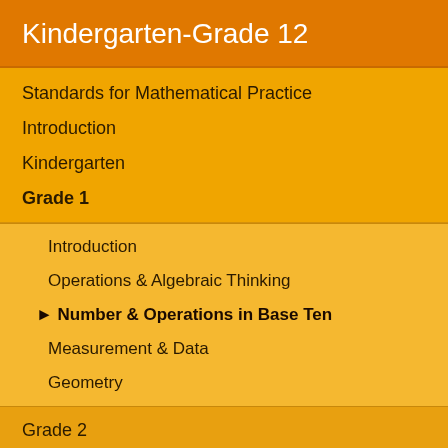Kindergarten-Grade 12
Standards for Mathematical Practice
Introduction
Kindergarten
Grade 1
Introduction
Operations & Algebraic Thinking
▶ Number & Operations in Base Ten
Measurement & Data
Geometry
Grade 2
Grade 3
Grade 4
Grade 5